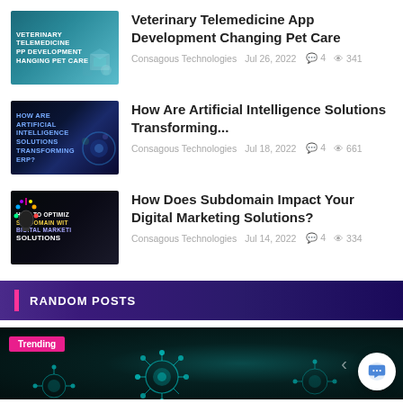[Figure (photo): Thumbnail image for Veterinary Telemedicine App Development blog post, teal/blue background with text overlay]
Veterinary Telemedicine App Development Changing Pet Care
Consagous Technologies  Jul 26, 2022  💬 4  👁 341
[Figure (photo): Thumbnail image for AI Solutions blog post, dark blue background with glowing brain/globe imagery]
How Are Artificial Intelligence Solutions Transforming...
Consagous Technologies  Jul 18, 2022  💬 4  👁 661
[Figure (photo): Thumbnail image for Subdomain blog post, dark background with colorful light bulb and text overlay]
How Does Subdomain Impact Your Digital Marketing Solutions?
Consagous Technologies  Jul 14, 2022  💬 4  👁 334
RANDOM POSTS
[Figure (photo): Trending section banner with dark teal background showing coronavirus/virus particle illustrations]